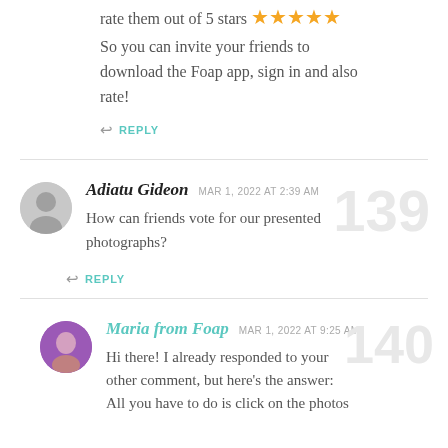rate them out of 5 stars ★★★★★
So you can invite your friends to download the Foap app, sign in and also rate!
↩ REPLY
Adiatu Gideon  MAR 1, 2022 AT 2:39 AM
How can friends vote for our presented photographs?
↩ REPLY
Maria from Foap  MAR 1, 2022 AT 9:25 AM
Hi there! I already responded to your other comment, but here's the answer: All you have to do is click on the photos